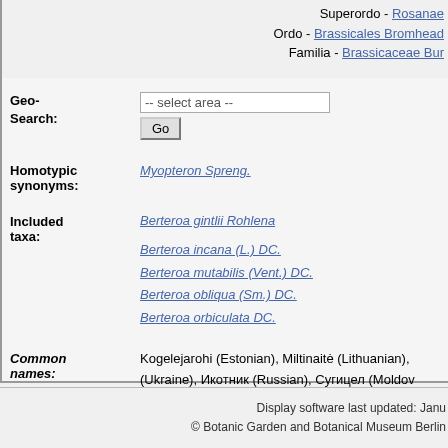Superordo - Rosanae
Ordo - Brassicales Bromhead
Familia - Brassicaceae Bur
Geo-Search: -- select area -- Go
Homotypic synonyms: Myopteron Spreng.
Included taxa: Berteroa gintlii Rohlena
Berteroa incana (L.) DC.
Berteroa mutabilis (Vent.) DC.
Berteroa obliqua (Sm.) DC.
Berteroa orbiculata DC.
Common names: Kogelejarohi (Estonian), Miltinaitė (Lithuanian), (Ukraine), Икотник (Russian), Сугицел (Moldov
Maps: distribution
Occurrence: Al Ar Au(A) Be(L) BH Bu By Cg Cs Ct Da Es Sl Sr dTu(A) Tu(E) Uk(K U) [Be(B) Br Fe Ga(F)
Display software last updated: Janu
© Botanic Garden and Botanical Museum Berlin